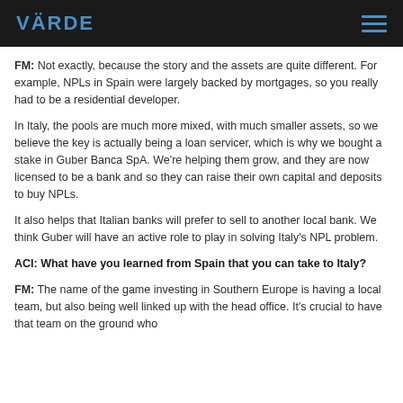VÄRDE
FM: Not exactly, because the story and the assets are quite different. For example, NPLs in Spain were largely backed by mortgages, so you really had to be a residential developer.
In Italy, the pools are much more mixed, with much smaller assets, so we believe the key is actually being a loan servicer, which is why we bought a stake in Guber Banca SpA. We're helping them grow, and they are now licensed to be a bank and so they can raise their own capital and deposits to buy NPLs.
It also helps that Italian banks will prefer to sell to another local bank. We think Guber will have an active role to play in solving Italy's NPL problem.
ACI: What have you learned from Spain that you can take to Italy?
FM: The name of the game investing in Southern Europe is having a local team, but also being well linked up with the head office. It's crucial to have that team on the ground who